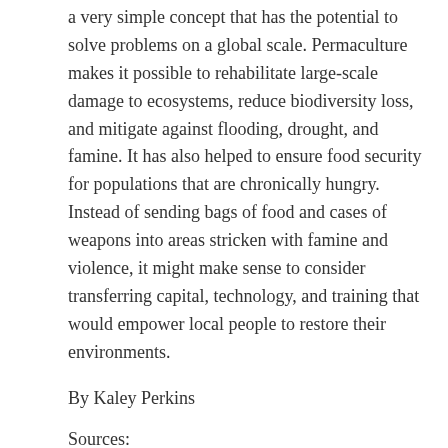a very simple concept that has the potential to solve problems on a global scale. Permaculture makes it possible to rehabilitate large-scale damage to ecosystems, reduce biodiversity loss, and mitigate against flooding, drought, and famine. It has also helped to ensure food security for populations that are chronically hungry. Instead of sending bags of food and cases of weapons into areas stricken with famine and violence, it might make sense to consider transferring capital, technology, and training that would empower local people to restore their environments.
By Kaley Perkins
Sources:
USAID
EcopointAsiaTV
Food Abundance
Environmental Education Media Project
CIA – FactBook